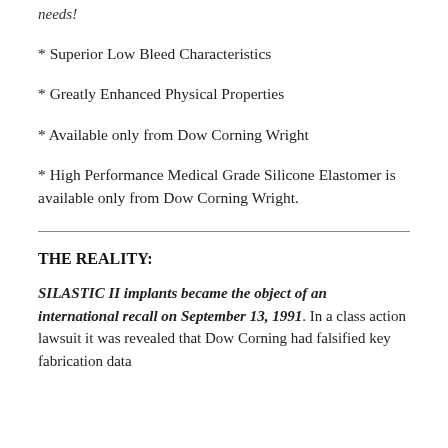needs!
* Superior Low Bleed Characteristics
* Greatly Enhanced Physical Properties
* Available only from Dow Corning Wright
* High Performance Medical Grade Silicone Elastomer is available only from Dow Corning Wright.
THE REALITY:
SILASTIC II implants became the object of an international recall on September 13, 1991. In a class action lawsuit it was revealed that Dow Corning had falsified key fabrication data...